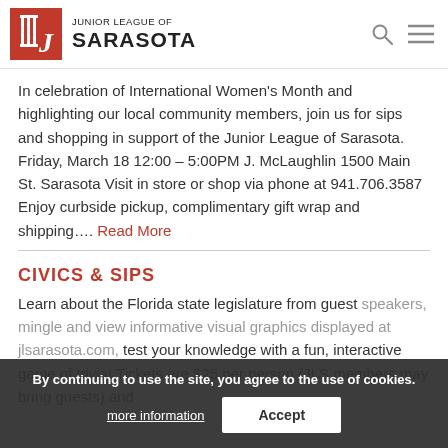JUNIOR LEAGUE OF SARASOTA
In celebration of International Women's Month and highlighting our local community members, join us for sips and shopping in support of the Junior League of Sarasota. Friday, March 18 12:00 – 5:00PM J. McLaughlin 1500 Main St. Sarasota Visit in store or shop via phone at 941.706.3587 Enjoy curbside pickup, complimentary gift wrap and shipping.... Read More
CIVICS & SIPS
Learn about the Florida state legislature from guest speakers, mingle and view informative visual graphics displayed at jlsarasota.com, test your knowledge with a fun, interactive game of trivia! Tickets are $25 per person (JLS members may bring guests) and
By continuing to use the site, you agree to the use of cookies. more information  Accept